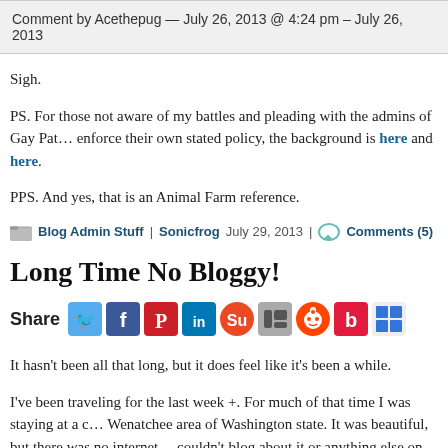Comment by Acethepug — July 26, 2013 @ 4:24 pm – July 26, 2013
Sigh.
PS. For those not aware of my battles and pleading with the admins of Gay Pat… enforce their own stated policy, the background is here and here.
PPS. And yes, that is an Animal Farm reference.
Blog Admin Stuff | Sonicfrog  July 29, 2013 | Comments (5)
Long Time No Bloggy!
[Figure (infographic): Share row with social media icons: Twitter (blue bird), Facebook (blue f), Pinterest (red P), LinkedIn (blue in), StumbleUpon (orange), Digg (blue/grey), Reddit (orange alien), Bloglovin (red b), Delicious (blue squares)]
It hasn't been all that long, but it does feel like it's been a while.
I've been traveling for the last week +. For much of that time I was staying at a c… Wenatchee area of Washington state. It was beautiful, but there was no internet… couldn't blog about it or anything else on my vacation. I did bring my rooted and… me, rooted for the express purpose of tethering to my laptop in case there was n… AT&T coverage sucks in WA – my family, those that live in the state all have Vo…